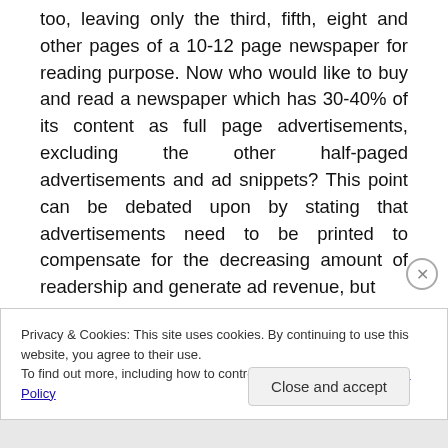too, leaving only the third, fifth, eight and other pages of a 10-12 page newspaper for reading purpose. Now who would like to buy and read a newspaper which has 30-40% of its content as full page advertisements, excluding the other half-paged advertisements and ad snippets? This point can be debated upon by stating that advertisements need to be printed to compensate for the decreasing amount of readership and generate ad revenue, but
Privacy & Cookies: This site uses cookies. By continuing to use this website, you agree to their use.
To find out more, including how to control cookies, see here: Cookie Policy